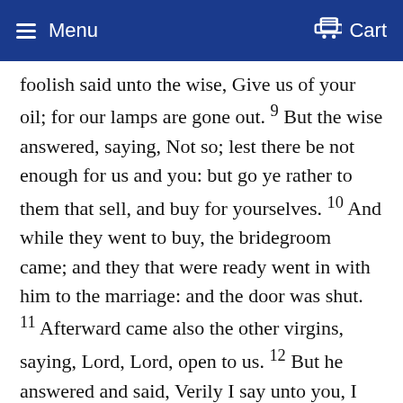Menu   Cart
foolish said unto the wise, Give us of your oil; for our lamps are gone out. 9 But the wise answered, saying, Not so; lest there be not enough for us and you: but go ye rather to them that sell, and buy for yourselves. 10 And while they went to buy, the bridegroom came; and they that were ready went in with him to the marriage: and the door was shut. 11 Afterward came also the other virgins, saying, Lord, Lord, open to us. 12 But he answered and said, Verily I say unto you, I know you not. 13 Watch therefore, for ye know neither the day nor the hour wherein the Son of man cometh. 14 For the kingdom of heaven is as a man travelling into a far country, who called his own servants, and delivered unto them his goods. 15 And unto one he gave five talents, to another two, and to another one; to every man according to his several ability; and straightway took his journey. 16 Then he that had received the five talents went and traded with the same, and made them other five